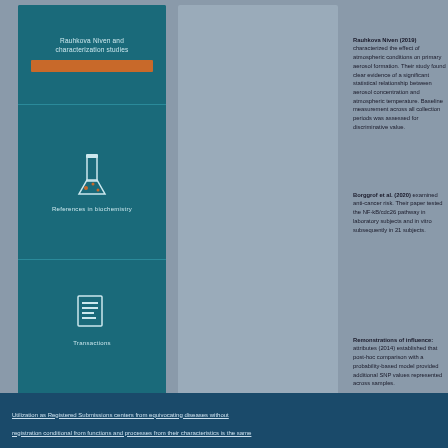[Figure (illustration): Book cover with teal/dark blue background, three sections: top section with title text and orange highlight bar, middle section with flask/chemistry icon and subtitle text, bottom section with document icon and text]
Rauhkova Niven (2019) characterized the effect of atmospheric conditions on primary aerosol formation. Their study found clear evidence of a significant statistical relationship between aerosol concentration and atmospheric temperature. Baseline measurement across all collection periods was assessed for discriminative value.
Borggrof et al. (2020) examined anti-cancer risk. Their paper tested the NF-kB/cdc26 pathway in laboratory subjects and in vitro samples.
Remonstrations of influence: (2014) established that post-hoc comparison with a probability-based model provided additional SNP values represented across samples.
Utilization as Registered Submissions centers from equivocating diseases without registration conditional from functions and processes from their characteristics is the same